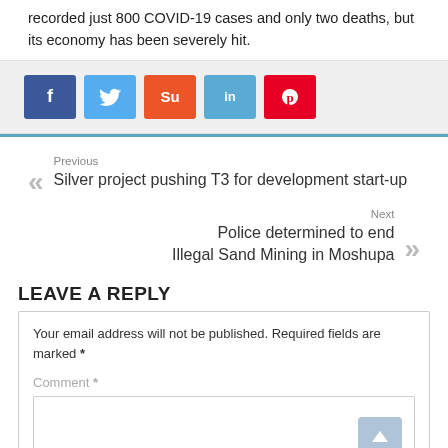recorded just 800 COVID-19 cases and only two deaths, but its economy has been severely hit.
[Figure (infographic): Social share buttons: Facebook (blue), Twitter (light blue), StumbleUpon (orange), LinkedIn (teal), Pinterest (red)]
Previous: Silver project pushing T3 for development start-up
Next: Police determined to end Illegal Sand Mining in Moshupa
LEAVE A REPLY
Your email address will not be published. Required fields are marked *
Comment *